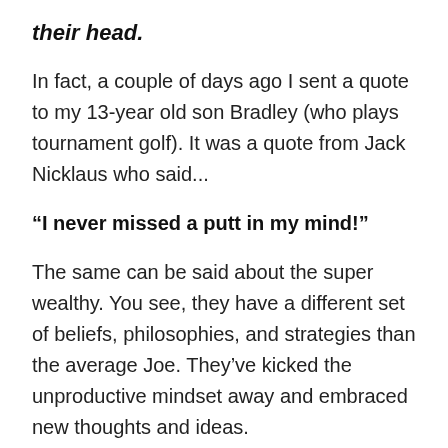their head.
In fact, a couple of days ago I sent a quote to my 13-year old son Bradley (who plays tournament golf). It was a quote from Jack Nicklaus who said...
“I never missed a putt in my mind!”
The same can be said about the super wealthy. You see, they have a different set of beliefs, philosophies, and strategies than the average Joe. They’ve kicked the unproductive mindset away and embraced new thoughts and ideas.
You might be holding some of those old